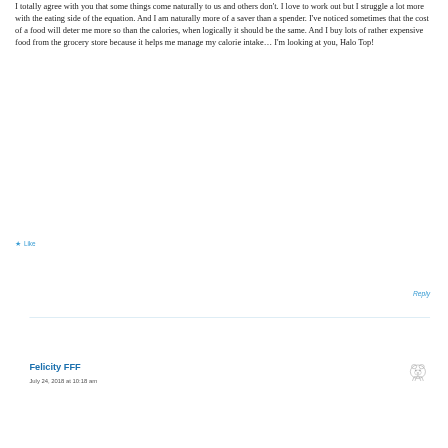I totally agree with you that some things come naturally to us and others don't. I love to work out but I struggle a lot more with the eating side of the equation. And I am naturally more of a saver than a spender. I've noticed sometimes that the cost of a food will deter me more so than the calories, when logically it should be the same. And I buy lots of rather expensive food from the grocery store because it helps me manage my calorie intake… I'm looking at you, Halo Top!
Like
Reply
Felicity FFF
July 24, 2018 at 10:18 am